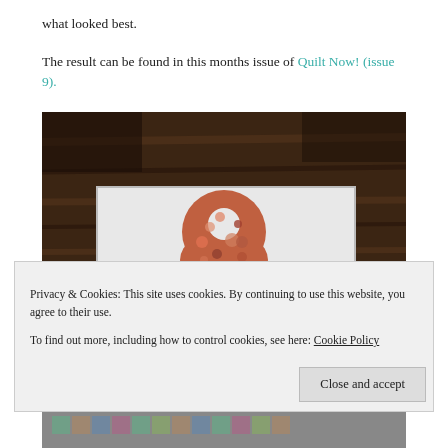what looked best.
The result can be found in this months issue of Quilt Now! (issue 9).
[Figure (photo): A quilt laid out on a wooden floor, featuring a light bulb shaped appliqué made from colorful patterned fabric on a white background. The bulb shape has a circular cutout at the top.]
Privacy & Cookies: This site uses cookies. By continuing to use this website, you agree to their use. To find out more, including how to control cookies, see here: Cookie Policy
Close and accept